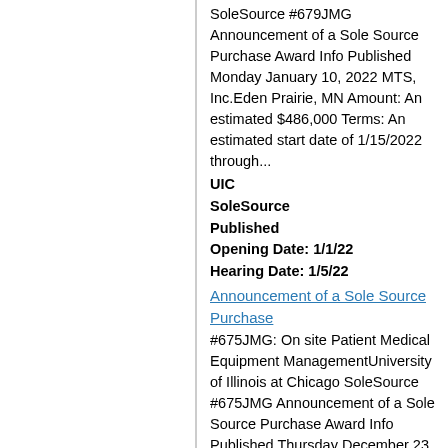SoleSource #679JMG Announcement of a Sole Source Purchase Award Info Published Monday January 10, 2022 MTS, Inc.Eden Prairie, MN Amount: An estimated $486,000 Terms: An estimated start date of 1/15/2022 through...
UIC
SoleSource
Published
Opening Date: 1/1/22
Hearing Date: 1/5/22
Announcement of a Sole Source Purchase
#675JMG: On site Patient Medical Equipment ManagementUniversity of Illinois at Chicago SoleSource #675JMG Announcement of a Sole Source Purchase Award Info Published Thursday December 23, 2021 Agiliti Health, Inc.Minneapolis, MN Amount: An estimated $2,250,000 Terms: An estimated start date of 1/1...